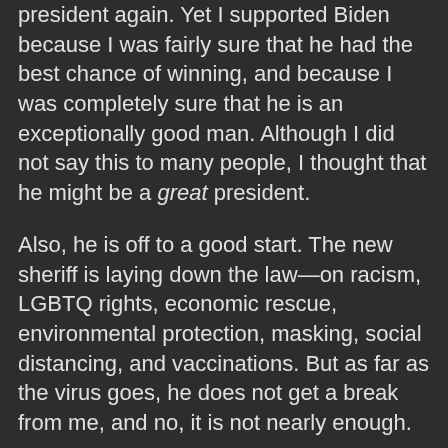president again. Yet I supported Biden because I was fairly sure that he had the best chance of winning, and because I was completely sure that he is an exceptionally good man. Although I did not say this to many people, I thought that he might be a great president.
Also, he is off to a good start. The new sheriff is laying down the law—on racism, LGBTQ rights, economic rescue, environmental protection, masking, social distancing, and vaccinations. But as far as the virus goes, he does not get a break from me, and no, it is not nearly enough.
Dr. Peter Hotez, a distinguished physician-virologist who is probably the most knowledgeable person about the pandemic after Dr. Fauci—but who can speak more freely